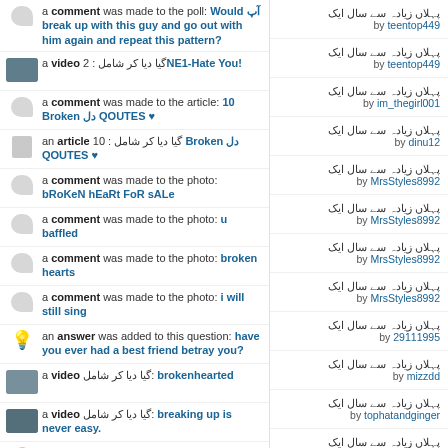a comment was made to the poll: Would آپ break up with this guy and go out with him again and repeat this pattern?
a video 2 : گیا دیا کر شامل NE1-Hate You!
a comment was made to the article: 10 Broken دل QOUTES ♥
an article 10 : گیا دیا کر شامل Broken دل QOUTES ♥
a comment was made to the photo: bRoKeN hEaRt FoR sALe
a comment was made to the photo: u baffled
a comment was made to the photo: broken hearts
a comment was made to the photo: i will still sing
an answer was added to this question: have you ever had a best friend betray you?
a video گیا دیا کر شامل: brokenhearted
a video گیا دیا کر شامل: breaking up is never easy.
an answer was added to this question: have you ever had a best friend betray you?
a comment was made to the answer: his